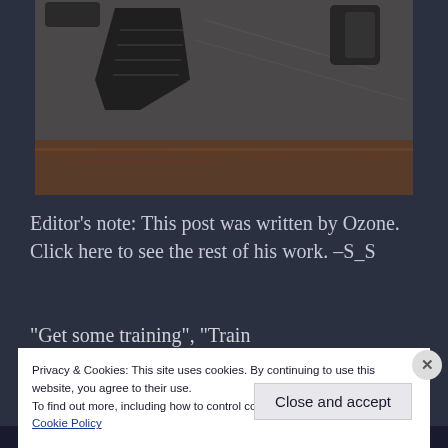[Figure (photo): Close-up photograph of what appears to be a firearm component (likely a pistol grip/magazine area) on a dark leather or textured surface, with wood visible at the bottom.]
Editor's note: This post was written by Ozone. Click here to see the rest of his work. –S_S
“Get some training”, “Train
Privacy & Cookies: This site uses cookies. By continuing to use this website, you agree to their use.
To find out more, including how to control cookies, see here:
Cookie Policy
Close and accept